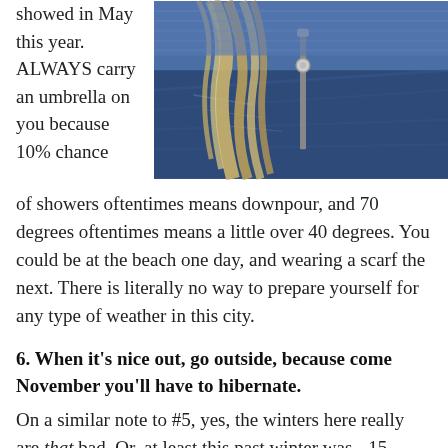showed in May this year. ALWAYS carry an umbrella on you because 10% chance
[Figure (photo): Close-up photo of a person with blonde hair wearing a blue knit sweater and denim jacket with a zipper]
of showers oftentimes means downpour, and 70 degrees oftentimes means a little over 40 degrees. You could be at the beach one day, and wearing a scarf the next. There is literally no way to prepare yourself for any type of weather in this city.
6. When it's nice out, go outside, because come November you'll have to hibernate.
On a similar note to #5, yes, the winters here really are that bad. Or, at least this past winter was. -15 degree days,